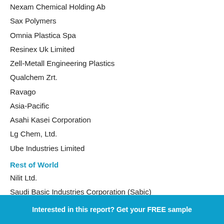Nexam Chemical Holding Ab
Sax Polymers
Omnia Plastica Spa
Resinex Uk Limited
Zell-Metall Engineering Plastics
Qualchem Zrt.
Ravago
Asia-Pacific
Asahi Kasei Corporation
Lg Chem, Ltd.
Ube Industries Limited
Rest of World
Nilit Ltd.
Saudi Basic Industries Corporation (Sabic)
Interested in this report? Get your FREE sample